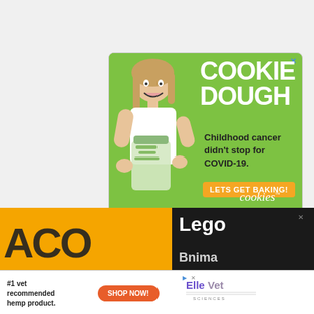[Figure (illustration): Advertisement for Cookies for Kids Cancer. Green background with a smiling young girl holding a jar of money on the left. Text on the right reads: COOKIE DOUGH in large white bold uppercase letters. Below: 'Childhood cancer didn't stop for COVID-19.' Orange button: 'LETS GET BAKING!' Logo at bottom: 'cookies for kids' cancer'. X close button in top right corner.]
[Figure (logo): Small 'w°' Whatnot or similar app logo in gray, top right of page]
[Figure (photo): Bottom partial strip showing a yellow/gold background with partial large dark text (possibly 'ACO' or similar Lego-related text), and black background on right with 'Lego' text and partial brand name 'Bnima']
[Figure (illustration): Bottom banner advertisement with white background. Text: '#1 vet recommended hemp product.' Orange 'SHOP NOW!' button. ElleVet Sciences logo in purple. Ad indicator and close X icons.]